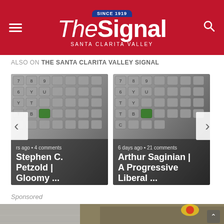The Signal — Santa Clarita Valley
ALSO ON THE SANTA CLARITA VALLEY SIGNAL
[Figure (screenshot): Navigation card: Stephen C. Petzold | Gloomy ... — keyboard background image, hours ago • 4 comments]
[Figure (screenshot): Navigation card: Arthur Saginian | A Progressive Liberal ... — keyboard background image, 6 days ago • 21 comments]
Sponsored
[Figure (photo): Sponsored image: construction/excavation scene with concrete wall and dirt, yellow safety equipment visible]